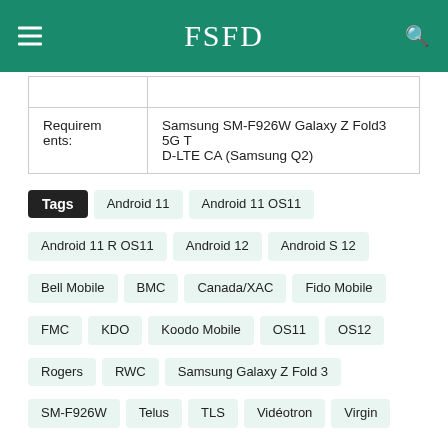FSFD
|  |  |
| Requirements: | Samsung SM-F926W Galaxy Z Fold3 5G TD-LTE CA (Samsung Q2) |
Tags  Android 11  Android 11 OS11  Android 11 R OS11  Android 12  Android S 12  Bell Mobile  BMC  Canada/XAC  Fido Mobile  FMC  KDO  Koodo Mobile  OS11  OS12  Rogers  RWC  Samsung Galaxy Z Fold 3  SM-F926W  Telus  TLS  Vidéotron  Virgin